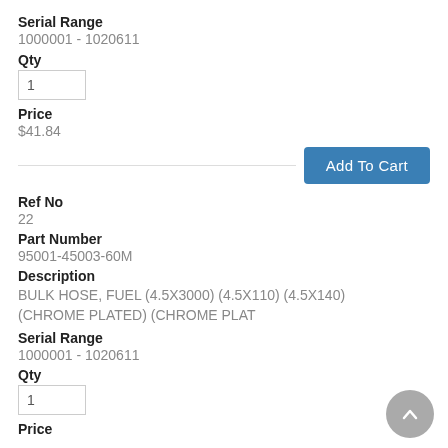Serial Range
1000001 - 1020611
Qty
1
Price
$41.84
Add To Cart
Ref No
22
Part Number
95001-45003-60M
Description
BULK HOSE, FUEL (4.5X3000) (4.5X110) (4.5X140) (CHROME PLATED) (CHROME PLAT
Serial Range
1000001 - 1020611
Qty
1
Price